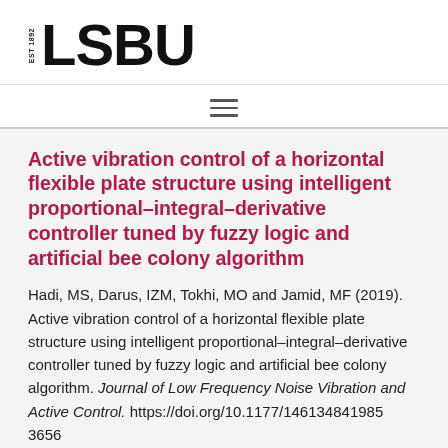[Figure (logo): LSBU logo with EST 1892 text rotated vertically on the left and large bold LSBU text]
Active vibration control of a horizontal flexible plate structure using intelligent proportional–integral–derivative controller tuned by fuzzy logic and artificial bee colony algorithm
Hadi, MS, Darus, IZM, Tokhi, MO and Jamid, MF (2019). Active vibration control of a horizontal flexible plate structure using intelligent proportional–integral–derivative controller tuned by fuzzy logic and artificial bee colony algorithm. Journal of Low Frequency Noise Vibration and Active Control. https://doi.org/10.1177/146134841985 3656